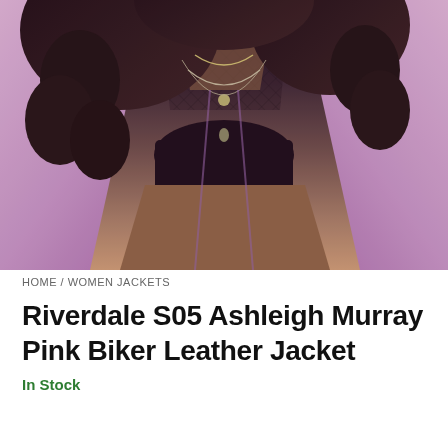[Figure (photo): Woman wearing a pink leather biker jacket open over a black mesh/fishnet top with layered silver necklaces. Dark curly hair. Cropped torso view.]
HOME / WOMEN JACKETS
Riverdale S05 Ashleigh Murray Pink Biker Leather Jacket
In Stock